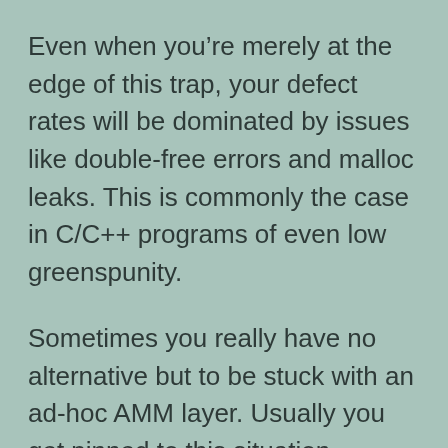Even when you're merely at the edge of this trap, your defect rates will be dominated by issues like double-free errors and malloc leaks. This is commonly the case in C/C++ programs of even low greenspunity.
Sometimes you really have no alternative but to be stuck with an ad-hoc AMM layer. Usually you get pinned to this situation because real AMM would impose latency costs you can't afford. The major case of this is operating-system kernels. I could say a lot more about the costs and contortions this forces you to